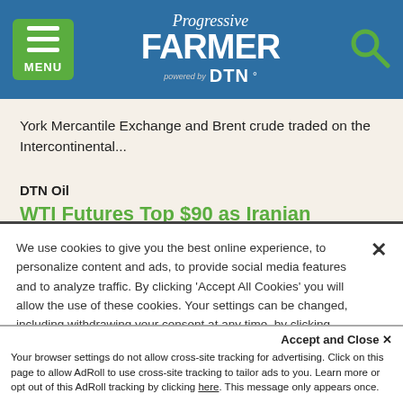Progressive FARMER powered by DTN
York Mercantile Exchange and Brent crude traded on the Intercontinental...
DTN Oil
WTI Futures Top $90 as Iranian Nuclear Talks Hit Impasse
We use cookies to give you the best online experience, to personalize content and ads, to provide social media features and to analyze traffic. By clicking 'Accept All Cookies' you will allow the use of these cookies. Your settings can be changed, including withdrawing your consent at any time, by clicking 'Cookie Settings'. Find out more on how we and third parties use cookies in our Cookie Policy
Accept and Close ×
Your browser settings do not allow cross-site tracking for advertising. Click on this page to allow AdRoll to use cross-site tracking to tailor ads to you. Learn more or opt out of this AdRoll tracking by clicking here. This message only appears once.